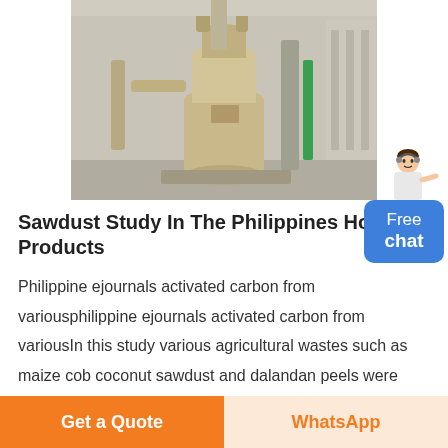[Figure (photo): Industrial milling/grinding machine in a factory setting, large beige/tan colored equipment with pipes and cylindrical components]
Sawdust Study In The Philippines Hot Products
Philippine ejournals activated carbon from variousphilippine ejournals activated carbon from variousIn this study various agricultural wastes such as maize cob coconut sawdust and dalandan peels were used to prepare activated carbon experiment was conducted
[Figure (illustration): Customer service assistant figure (woman) next to a blue chat bubble button saying Free chat]
Get a Quote    WhatsApp